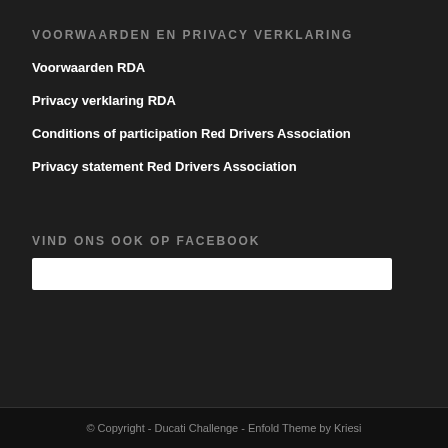VOORWAARDEN EN PRIVACY VERKLARING
Voorwaarden RDA
Privacy verklaring RDA
Conditions of participation Red Drivers Association
Privacy statement Red Drivers Association
VIND ONS OOK OP FACEBOOK
[Figure (other): White Facebook widget embed box]
© Copyright - Ducati Challenge - Enfold Theme by Kriesi